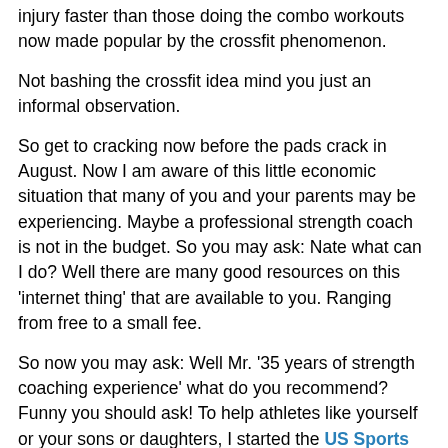injury faster than those doing the combo workouts now made popular by the crossfit phenomenon.
Not bashing the crossfit idea mind you just an informal observation.
So get to cracking now before the pads crack in August. Now I am aware of this little economic situation that many of you and your parents may be experiencing. Maybe a professional strength coach is not in the budget. So you may ask: Nate what can I do? Well there are many good resources on this 'internet thing' that are available to you. Ranging from free to a small fee.
So now you may ask: Well Mr. '35 years of strength coaching experience' what do you recommend? Funny you should ask! To help athletes like yourself or your sons or daughters, I started the US Sports Online Strength and Conditioning System. Click 'dat' link right 'der' and I can design and deliver your program online and you can take this guide to sports greatness... Ok at least getting into better shape for